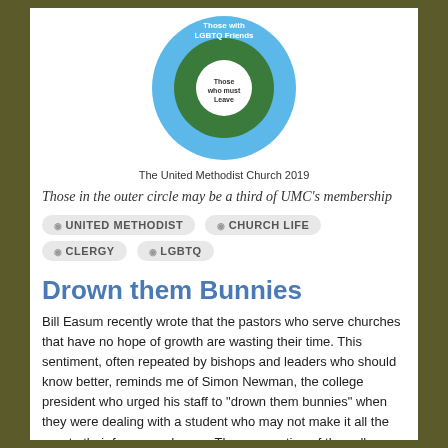[Figure (donut-chart): Concentric circle diagram showing United Methodist Church 2019 membership groups: outer blue ring labeled 'Those with LGBTQ Friends', middle green ring, inner white circle labeled 'Those who must Leave']
The United Methodist Church 2019
Those in the outer circle may be a third of UMC's membership
UNITED METHODIST
CHURCH LIFE
CLERGY
LGBTQ
Drown them Bunnies
Bill Easum recently wrote that the pastors who serve churches that have no hope of growth are wasting their time. This sentiment, often repeated by bishops and leaders who should know better, reminds me of Simon Newman, the college president who urged his staff to "drown them bunnies" when they were dealing with a student who may not make it all the way to their four year degree. The assumption of the college president was that his school existed to profitably collect four years of tuition and maintain an excellent rating with their accreditation agency.
Read more